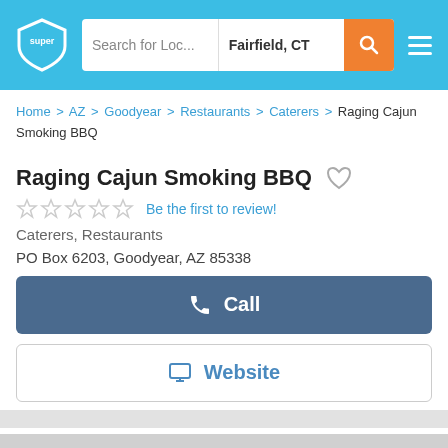Search for Loc... | Fairfield, CT
Home > AZ > Goodyear > Restaurants > Caterers > Raging Cajun Smoking BBQ
Raging Cajun Smoking BBQ
Be the first to review!
Caterers, Restaurants
PO Box 6203, Goodyear, AZ 85338
Call
Website